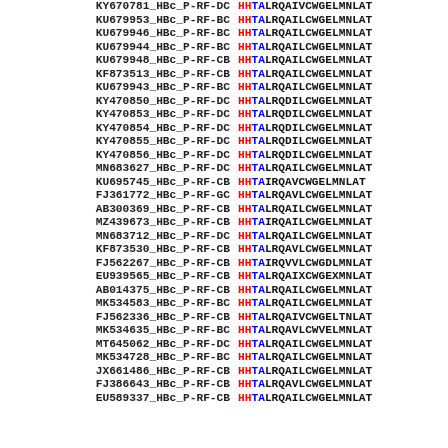[Figure (other): Multiple sequence alignment showing accession IDs (bold monospace) paired with partial amino acid sequences colored by residue identity (H=red, HTA=blue/red, L=blue, conserved positions highlighted). Rows: KY670781_HBc_P-RF-DC, KU679953_HBc_P-RF-BC, KU679946_HBc_P-RF-BC, KU679944_HBc_P-RF-BC, KU679948_HBc_P-RF-CB, KF873513_HBc_P-RF-CB, KU679943_HBc_P-RF-BC, KY470850_HBc_P-RF-DC, KY470853_HBc_P-RF-DC, KY470854_HBc_P-RF-DC, KY470855_HBc_P-RF-DC, KY470856_HBc_P-RF-DC, MN683627_HBc_P-RF-DC, KU695745_HBc_P-RF-CB, FJ361772_HBc_P-RF-GC, AB300369_HBc_P-RF-CB, MZ439673_HBc_P-RF-CB, MN683712_HBc_P-RF-DC, KF873530_HBc_P-RF-CB, FJ562267_HBc_P-RF-CB, EU939565_HBc_P-RF-CB, AB014375_HBc_P-RF-CB, MK534583_HBc_P-RF-BC, FJ562336_HBc_P-RF-CB, MK534635_HBc_P-RF-BC, MT645062_HBc_P-RF-DC, MK534728_HBc_P-RF-BC, JX661486_HBc_P-RF-CB, FJ386643_HBc_P-RF-CB, EU589337_HBc_P-RF-CB]